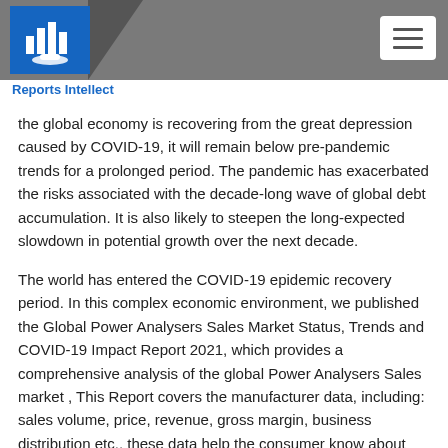Reports Intellect
the global economy is recovering from the great depression caused by COVID-19, it will remain below pre-pandemic trends for a prolonged period. The pandemic has exacerbated the risks associated with the decade-long wave of global debt accumulation. It is also likely to steepen the long-expected slowdown in potential growth over the next decade.
The world has entered the COVID-19 epidemic recovery period. In this complex economic environment, we published the Global Power Analysers Sales Market Status, Trends and COVID-19 Impact Report 2021, which provides a comprehensive analysis of the global Power Analysers Sales market , This Report covers the manufacturer data, including: sales volume, price, revenue, gross margin, business distribution etc., these data help the consumer know about the competitors better. This report also covers all the regions and countries of the world, which shows the